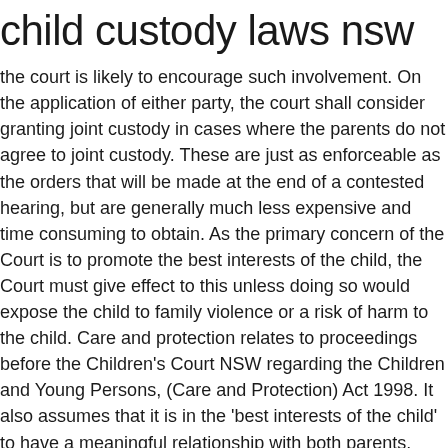child custody laws nsw
the court is likely to encourage such involvement. On the application of either party, the court shall consider granting joint custody in cases where the parents do not agree to joint custody. These are just as enforceable as the orders that will be made at the end of a contested hearing, but are generally much less expensive and time consuming to obtain. As the primary concern of the Court is to promote the best interests of the child, the Court must give effect to this unless doing so would expose the child to family violence or a risk of harm to the child. Care and protection relates to proceedings before the Children's Court NSW regarding the Children and Young Persons, (Care and Protection) Act 1998. It also assumes that it is in the 'best interests of the child' to have a meaningful relationship with both parents. Accordingly, the behaviour of parents is relevant and can be important to the outcome of parenting orders, and it is not inconceivable that estranged spouses will take this opportunity to keep scrupulous records of every minor infraction that the other parent makes in relation to parenting. The family law legislation does not enable the Court to take into consideration stereotypical gender roles. The Family Law Act 1975 (Cth) is the primary, national law that governs parenting arrangements for children.